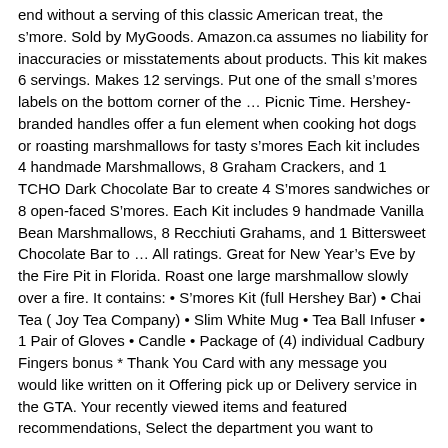end without a serving of this classic American treat, the s’more. Sold by MyGoods. Amazon.ca assumes no liability for inaccuracies or misstatements about products. This kit makes 6 servings. Makes 12 servings. Put one of the small s’mores labels on the bottom corner of the … Picnic Time. Hershey-branded handles offer a fun element when cooking hot dogs or roasting marshmallows for tasty s’mores Each kit includes 4 handmade Marshmallows, 8 Graham Crackers, and 1 TCHO Dark Chocolate Bar to create 4 S’mores sandwiches or 8 open-faced S’mores. Each Kit includes 9 handmade Vanilla Bean Marshmallows, 8 Recchiuti Grahams, and 1 Bittersweet Chocolate Bar to … All ratings. Great for New Year’s Eve by the Fire Pit in Florida. Roast one large marshmallow slowly over a fire. It contains: • S’mores Kit (full Hershey Bar) • Chai Tea ( Joy Tea Company) • Slim White Mug • Tea Ball Infuser • 1 Pair of Gloves • Candle • Package of (4) individual Cadbury Fingers bonus * Thank You Card with any message you would like written on it Offering pick up or Delivery service in the GTA. Your recently viewed items and featured recommendations, Select the department you want to